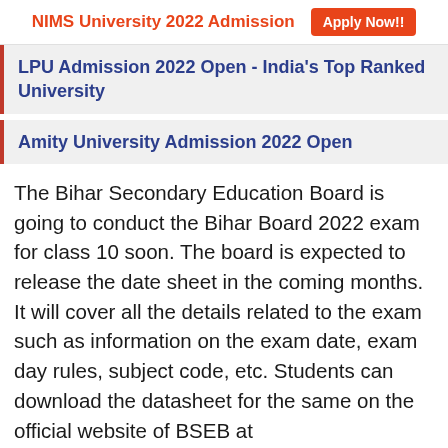NIMS University 2022 Admission   Apply Now!!
LPU Admission 2022 Open - India's Top Ranked University
Amity University Admission 2022 Open
The Bihar Secondary Education Board is going to conduct the Bihar Board 2022 exam for class 10 soon. The board is expected to release the date sheet in the coming months. It will cover all the details related to the exam such as information on the exam date, exam day rules, subject code, etc. Students can download the datasheet for the same on the official website of BSEB at biharboardonline.com when it is released.